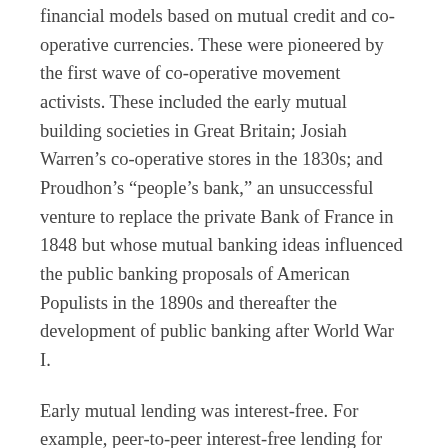financial models based on mutual credit and co-operative currencies. These were pioneered by the first wave of co-operative movement activists. These included the early mutual building societies in Great Britain; Josiah Warren’s co-operative stores in the 1830s; and Proudhon’s “people’s bank,” an unsuccessful venture to replace the private Bank of France in 1848 but whose mutual banking ideas influenced the public banking proposals of American Populists in the 1890s and thereafter the development of public banking after World War I.
Early mutual lending was interest-free. For example, peer-to-peer interest-free lending for house-building was once the norm in Great Britain. Indeed, it operated for over a century from 1775 when the first terminating building society was established in Birmingham. By the 1870s there were over 900 such interest-free lenders trading; almost every town had one. The similar Starr-Bowkett societies were also popular interest-free loan organisations, operating widely in England from the 1840s